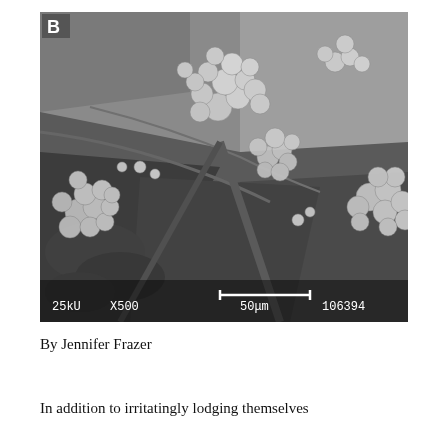[Figure (photo): Scanning electron microscope image labeled 'B' showing spherical bacterial or fungal cells clustered along ridges and crevices of a surface. Scale bar reads 50μm. Instrument settings shown: 25kV, X500, 106394. Image is black and white.]
By Jennifer Frazer
In addition to irritatingly lodging themselves